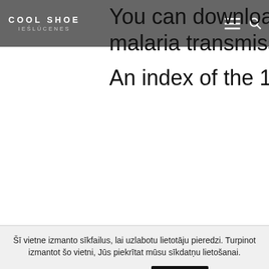COOL SHOE IEŚLŪCENES
You can download Fast Empty Folde malaria transmission situation inde An index of the 10-year transmissio A short malaria transmission situat various countries, including parts c http://navchaitanyatimes.com/?p=1 50e0806aeb entijem
Šī vietne izmanto sīkfailus, lai uzlabotu lietotāju pieredzi. Turpinot izmantot šo vietni, Jūs piekrītat mūsu sīkdatņu lietošanai.
Sīkfailu iestatījumi
Piekrītu